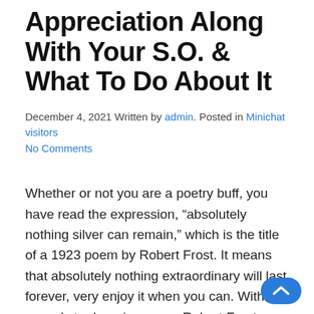Appreciation Along With Your S.O. & What To Do About It
December 4, 2021 Written by admin. Posted in Minichat visitors No Comments
Whether or not you are a poetry buff, you have read the expression, “absolutely nothing silver can remain,” which is the title of a 1923 poem by Robert Frost. It means that absolutely nothing extraordinary will last forever, very enjoy it when you can. With regards to dropping crazy, Robert Frost might have been close to the amount of money: at the outset of your union you and your spouse was all smiles and passion, but over time, those euphoric ideas have faded, and you’re